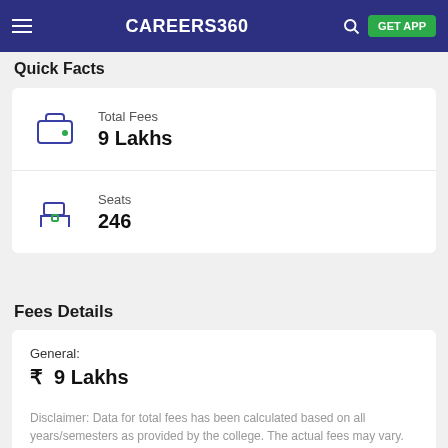CAREERS360 | GET APP
Quick Facts
Total Fees
9 Lakhs
Seats
246
Fees Details
General:
₹ 9 Lakhs
Disclaimer: Data for total fees has been calculated based on all years/semesters as provided by the college. The actual fees may vary.